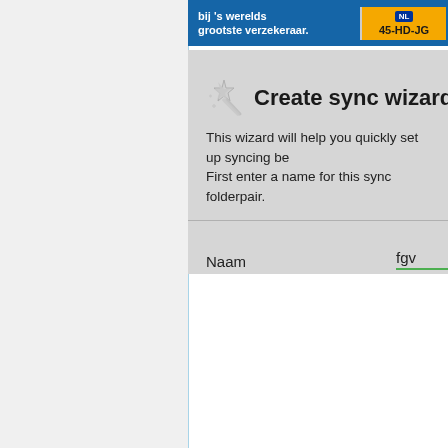[Figure (screenshot): Advertisement banner showing 'bij 's werelds grootste verzekeraar.' with a Dutch license plate reading '45-HD-JG' on orange background with NL flag indicator]
Create sync wizard
This wizard will help you quickly set up syncing be First enter a name for this sync folderpair.
Naam    fgv